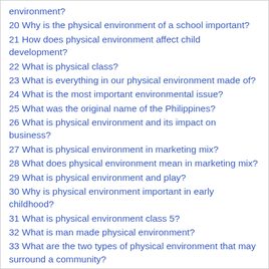environment?
20 Why is the physical environment of a school important?
21 How does physical environment affect child development?
22 What is physical class?
23 What is everything in our physical environment made of?
24 What is the most important environmental issue?
25 What was the original name of the Philippines?
26 What is physical environment and its impact on business?
27 What is physical environment in marketing mix?
28 What does physical environment mean in marketing mix?
29 What is physical environment and play?
30 Why is physical environment important in early childhood?
31 What is physical environment class 5?
32 What is man made physical environment?
33 What are the two types of physical environment that may surround a community?